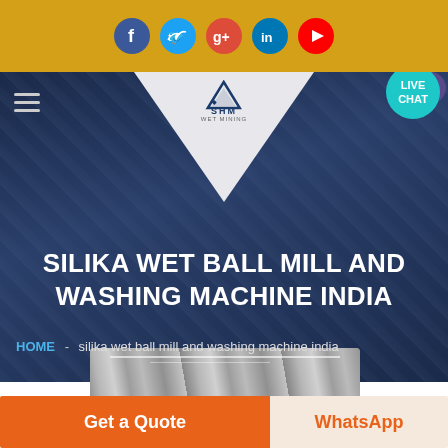Social media icons: Facebook, Twitter, Google+, LinkedIn, YouTube
[Figure (screenshot): Navigation bar with hamburger menu, SHM logo, and Live Chat button]
SILIKA WET BALL MILL AND WASHING MACHINE INDIA
HOME - silika wet ball mill and washing machine india
[Figure (photo): Partial photo strip of industrial machinery]
Get a Quote
WhatsApp